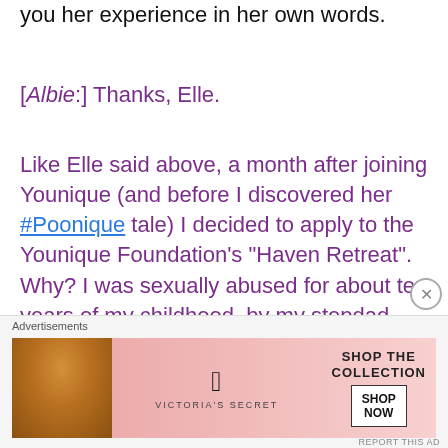I will now hand over to Albie, and let her tell you her experience in her own words.
[Albie:] Thanks, Elle.
Like Elle said above, a month after joining Younique (and before I discovered her #Poonique tale) I decided to apply to the Younique Foundation’s “Haven Retreat”. Why? I was sexually abused for about ten years of my childhood, by my stepdad.
[Figure (screenshot): Victoria's Secret advertisement banner with model photo, VS logo, 'SHOP THE COLLECTION' text, and 'SHOP NOW' button]
Advertisements